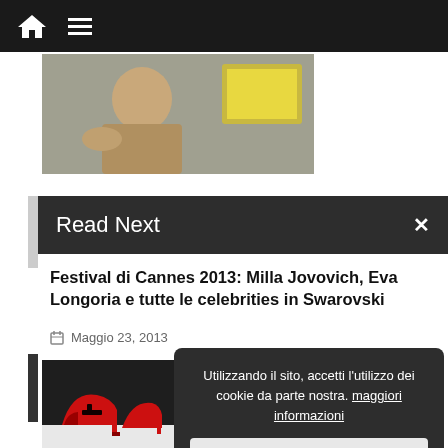Navigation bar with home icon and menu icon
[Figure (photo): Person (elderly, light-haired) seated, working at a desk/computer, partial view cropped at top]
Read Next
Festival di Cannes 2013: Milla Jovovich, Eva Longoria e tutte le celebrities in Swarovski
Maggio 23, 2013
[Figure (photo): Red high-heeled sculptural shoes (Sergio Rossi tribute) on a white surface, Instagram style]
Sergio Rossi a Tribute to ... la special ... arpe scultura, le ...rtv
Utilizzando il sito, accetti l'utilizzo dei cookie da parte nostra. maggiori informazioni
Accetto